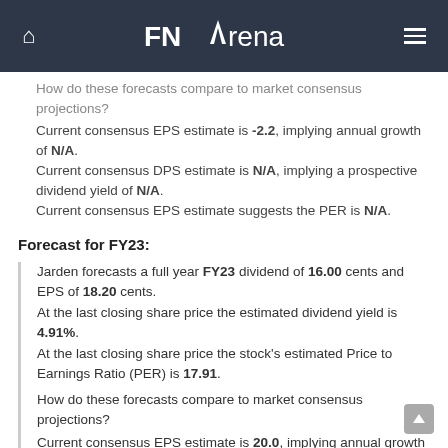FNArena
How do these forecasts compare to market consensus projections?
Current consensus EPS estimate is -2.2, implying annual growth of N/A.
Current consensus DPS estimate is N/A, implying a prospective dividend yield of N/A.
Current consensus EPS estimate suggests the PER is N/A.
Forecast for FY23:
Jarden forecasts a full year FY23 dividend of 16.00 cents and EPS of 18.20 cents.
At the last closing share price the estimated dividend yield is 4.91%.
At the last closing share price the stock's estimated Price to Earnings Ratio (PER) is 17.91.
How do these forecasts compare to market consensus projections?
Current consensus EPS estimate is 20.0, implying annual growth of N/A.